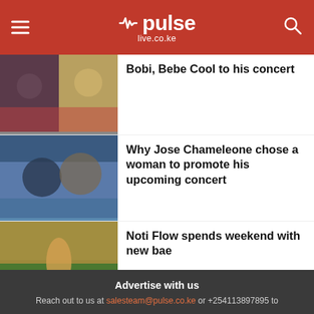pulse live.co.ke
Bobi, Bebe Cool to his concert
Why Jose Chameleone chose a woman to promote his upcoming concert
Noti Flow spends weekend with new bae
Advertise with us
Reach out to us at salesteam@pulse.co.ke or +254113897895 to